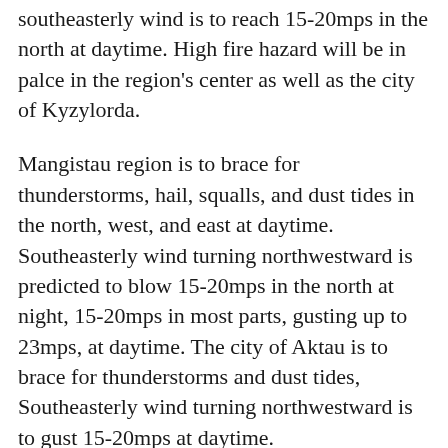southeasterly wind is to reach 15-20mps in the north at daytime. High fire hazard will be in palce in the region's center as well as the city of Kyzylorda.
Mangistau region is to brace for thunderstorms, hail, squalls, and dust tides in the north, west, and east at daytime. Southeasterly wind turning northwestward is predicted to blow 15-20mps in the north at night, 15-20mps in most parts, gusting up to 23mps, at daytime. The city of Aktau is to brace for thunderstorms and dust tides, Southeasterly wind turning northwestward is to gust 15-20mps at daytime.